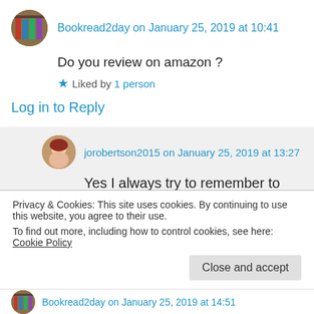Bookread2day on January 25, 2019 at 10:41
Do you review on amazon ?
Liked by 1 person
Log in to Reply
jorobertson2015 on January 25, 2019 at 13:27
Yes I always try to remember to review on there as well!
Privacy & Cookies: This site uses cookies. By continuing to use this website, you agree to their use.
To find out more, including how to control cookies, see here: Cookie Policy
Close and accept
Bookread2day on January 25, 2019 at 14:51